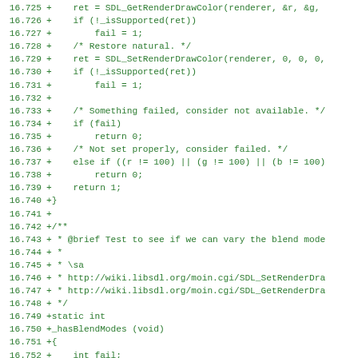[Figure (screenshot): Source code diff view showing C code lines 16.725-16.756 in green monospace font, with line numbers on the left and diff markers (+) indicating added lines. The code snippet relates to SDL rendering functions including SDL_GetRenderDrawColor, SDL_SetRenderDrawColor, hasBlendModes function definition, and variable declarations.]